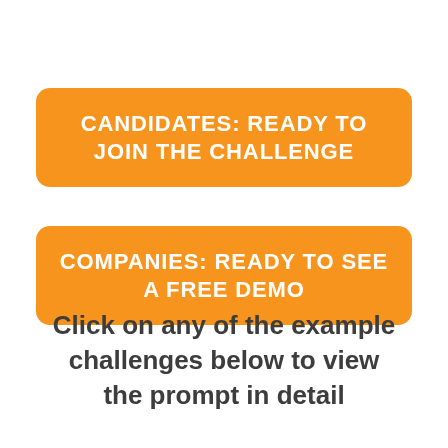CANDIDATES: READY TO JOIN THE CHALLENGE
COMPANIES: READY TO SEE A FREE DEMO
Click on any of the example challenges below to view the prompt in detail